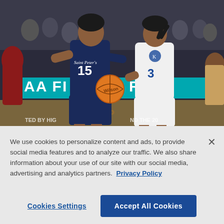[Figure (photo): NCAA basketball game photo: Saint Peter's player #15 in navy uniform dribbling a Wilson basketball, contested by a Kentucky player in white uniform with blue checkered pattern. Banner in background reads 'AA FI R R D' (NCAA First Round). Arena crowd visible in background.]
We use cookies to personalize content and ads, to provide social media features and to analyze our traffic. We also share information about your use of our site with our social media, advertising and analytics partners.  Privacy Policy
Cookies Settings
Accept All Cookies